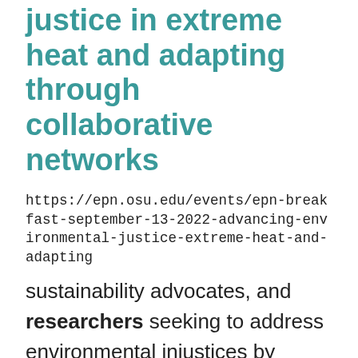justice in extreme heat and adapting through collaborative networks
https://epn.osu.edu/events/epn-breakfast-september-13-2022-advancing-environmental-justice-extreme-heat-and-adapting
sustainability advocates, and researchers seeking to address environmental injustices by prioritizing green ... socio-ecological research to understand the impacts of historical urban wetland management in low-income ... patterns in relation to local demographics. Eventually she carried her research to study communities and ...